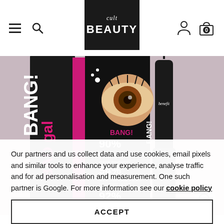cult BEAUTY
[Figure (photo): Benefit BAD gal BANG! mascara product shot showing multiple mascara tubes and packaging with statistics: 90% saw dramatic volume, 94% said instantly lifted lashes, 92% said it lengthened lashes. Black packaging with pink text, mascara wand visible on right side.]
Our partners and us collect data and use cookies, email pixels and similar tools to enhance your experience, analyse traffic and for ad personalisation and measurement. One such partner is Google. For more information see our cookie policy
ACCEPT